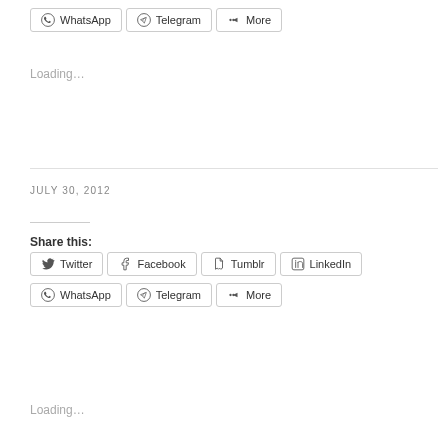[Figure (other): Social share buttons row: WhatsApp, Telegram, More]
Loading…
JULY 30, 2012
Share this:
[Figure (other): Social share buttons row: Twitter, Facebook, Tumblr, LinkedIn, WhatsApp, Telegram, More]
Loading…